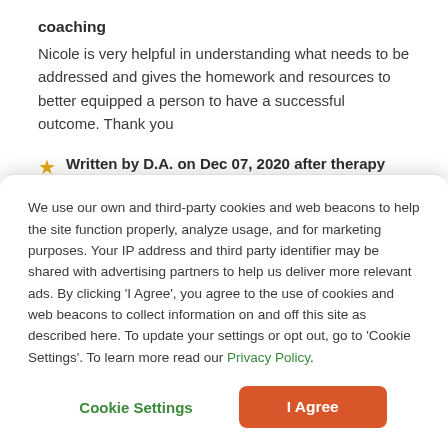coaching
Nicole is very helpful in understanding what needs to be addressed and gives the homework and resources to better equipped a person to have a successful outcome. Thank you
Written by D.A. on Dec 07, 2020 after therapy with Nicole for 2 weeks on issues concerning stress, anxiety, addictions,
We use our own and third-party cookies and web beacons to help the site function properly, analyze usage, and for marketing purposes. Your IP address and third party identifier may be shared with advertising partners to help us deliver more relevant ads. By clicking 'I Agree', you agree to the use of cookies and web beacons to collect information on and off this site as described here. To update your settings or opt out, go to 'Cookie Settings'. To learn more read our Privacy Policy.
Cookie Settings
I Agree